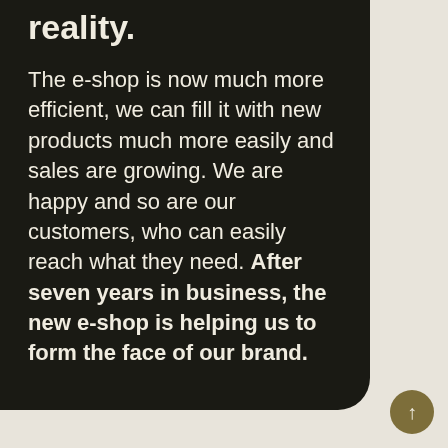reality.
The e-shop is now much more efficient, we can fill it with new products much more easily and sales are growing. We are happy and so are our customers, who can easily reach what they need. After seven years in business, the new e-shop is helping us to form the face of our brand.
↑